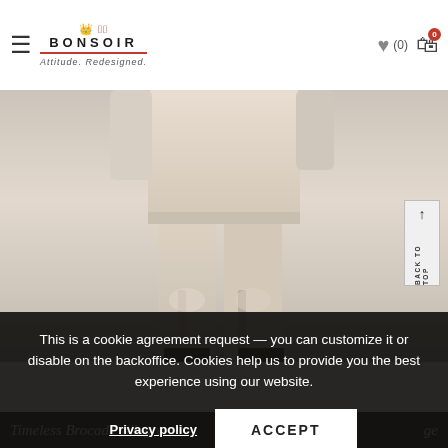BONSOIR — Attitude. Redesigned.
[Figure (photo): Fashion model photo showing lower body wearing a beige/cream brocade silk dress/skirt and matching trousers, with a 'Back to Top' button overlay on the right side]
This is a cookie agreement request — you can customize it or disable on the backoffice. Cookies help us to provide you the best experience using our website.
Privacy policy   ACCEPT
Timeless Brocade silk gre...ge latt...